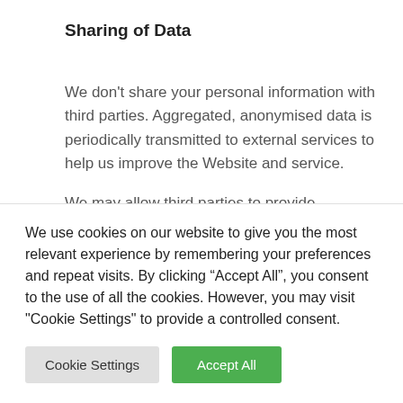Sharing of Data
We don't share your personal information with third parties. Aggregated, anonymised data is periodically transmitted to external services to help us improve the Website and service.
We may allow third parties to provide analytics services. These third parties may use cookies, web beacons and other technologies to collect information about your use of the services and other websites, including...
We use cookies on our website to give you the most relevant experience by remembering your preferences and repeat visits. By clicking “Accept All”, you consent to the use of all the cookies. However, you may visit "Cookie Settings" to provide a controlled consent.